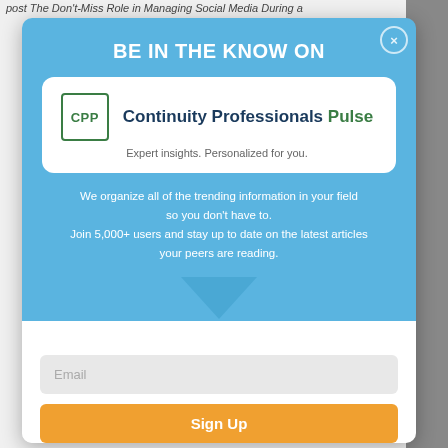post The Don't-Miss Role in Managing Social Media During a
BE IN THE KNOW ON
[Figure (logo): CPP logo — square green border with letters CPP inside]
Continuity Professionals Pulse
Expert insights. Personalized for you.
We organize all of the trending information in your field so you don't have to. Join 5,000+ users and stay up to date on the latest articles your peers are reading.
Email
Sign Up